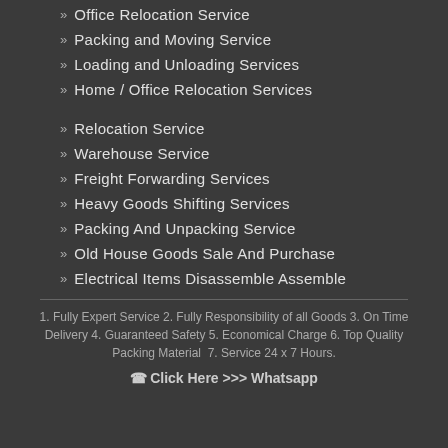Office Relocation Service
Packing and Moving Service
Loading and Unloading Services
Home / Office Relocation Services
Relocation Service
Warehouse Service
Freight Forwarding Services
Heavy Goods Shifting Services
Packing And Unpacking Service
Old House Goods Sale And Purchase
Electrical Items Disassemble Assemble
1. Fully Expert Service 2. Fully Responsibility of all Goods 3. On Time Delivery 4. Guaranteed Safety 5. Economical Charge 6. Top Quality Packing Material  7. Service 24 x 7 Hours.
Click Here >>> Whatsapp